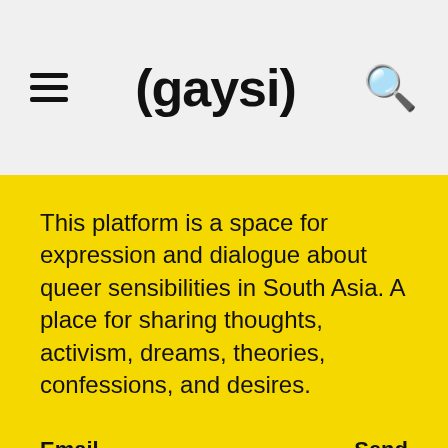(gaysi)
This platform is a space for expression and dialogue about queer sensibilities in South Asia. A place for sharing thoughts, activism, dreams, theories, confessions, and desires.
Email  Send
CRIBE NOW  SUBSCRIBE NOW  SUBSCRIBE NOW  SUBSCRII